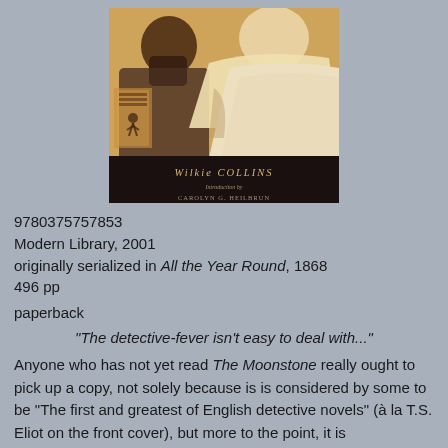[Figure (photo): Book cover of The Moonstone by Wilkie Collins, Modern Library edition. Shows robed figures in a warm sepia/amber tone, with a black band at the bottom showing 'Wilkie COLLINS' and 'Introduction by CAROLYN G. HEILBRUN'. The Modern Library Classics logo is visible on the left spine area.]
9780375757853
Modern Library, 2001
originally serialized in All the Year Round, 1868
496 pp
paperback
"The detective-fever isn't easy to deal with..."
Anyone who has not yet read The Moonstone really ought to pick up a copy, not solely because is is considered by some to be "The first and greatest of English detective novels" (à la T.S. Eliot on the front cover), but more to the point, it is